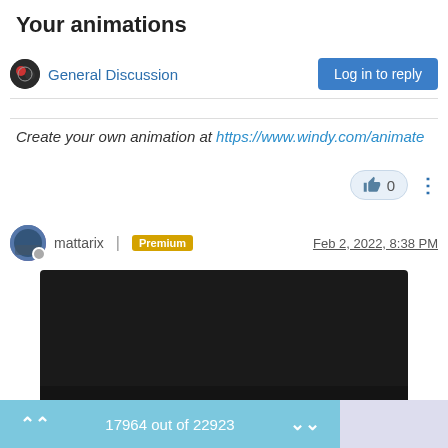Your animations
General Discussion
Log in to reply
Create your own animation at https://www.windy.com/animate
👍 0
mattarix | Premium   Feb 2, 2022, 8:38 PM
[Figure (screenshot): Embedded video player showing 0:00 timestamp with dark background and playback controls]
17964 out of 22923